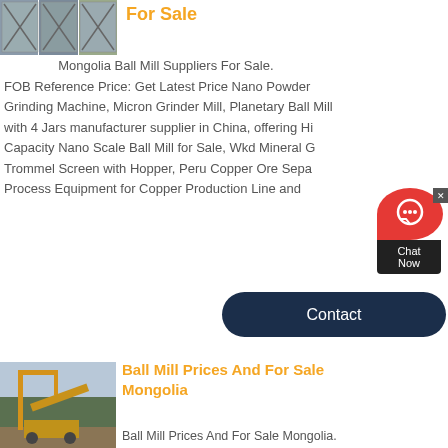[Figure (photo): Three industrial silos or ball mill units shown side by side]
For Sale
Mongolia Ball Mill Suppliers For Sale. FOB Reference Price: Get Latest Price Nano Powder Grinding Machine, Micron Grinder Mill, Planetary Ball Mill with 4 Jars manufacturer supplier in China, offering Hi Capacity Nano Scale Ball Mill for Sale, Wkd Mineral G Trommel Screen with Hopper, Peru Copper Ore Sepa Process Equipment for Copper Production Line and
[Figure (screenshot): Live chat widget with red chat icon and Chat Now label]
Contact
[Figure (photo): Ball mill and crushing equipment at a mining site with yellow machinery]
Ball Mill Prices And For Sale Mongolia
Ball Mill Prices And For Sale Mongolia.